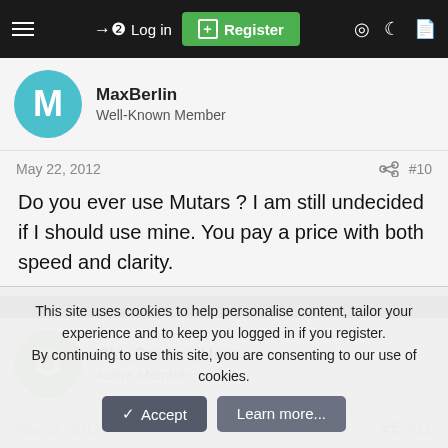Log in | Register
MaxBerlin
Well-Known Member
May 22, 2012  #10
Do you ever use Mutars ? I am still undecided if I should use mine. You pay a price with both speed and clarity.
Old_Contax_User
Active Member
May 22, 2012  #11
This site uses cookies to help personalise content, tailor your experience and to keep you logged in if you register.
By continuing to use this site, you are consenting to our use of cookies.